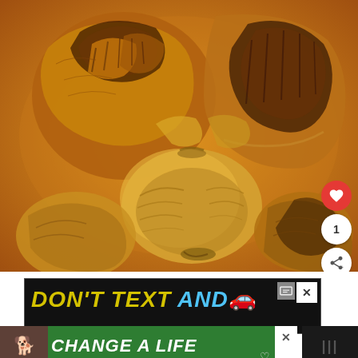[Figure (photo): Close-up photograph of roasted garlic bulbs with golden-brown paper skin, showing multiple heads of garlic with cloves visible, warm amber/orange tones, bokeh background]
[Figure (infographic): Advertisement banner: 'DON'T TEXT AND' with car emoji on dark background, with close button and ad icon]
[Figure (infographic): Green advertisement banner with dog image and text 'CHANGE A LIFE' with close button and heart icon]